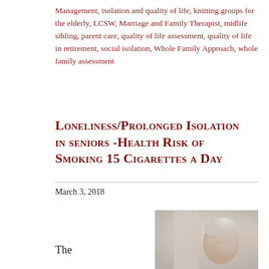Management, isolation and quality of life, knitting groups for the elderly, LCSW, Marriage and Family Therapist, midlife sibling, parent care, quality of life assessment, quality of life in retirement, social isolation, Whole Family Approach, whole family assessment
Loneliness/Prolonged Isolation in seniors -Health Risk of Smoking 15 Cigarettes a Day
March 3, 2018
[Figure (photo): Elderly man with white hair holding his fingers to his temples, appearing distressed or in pain, against a blurred light background]
The